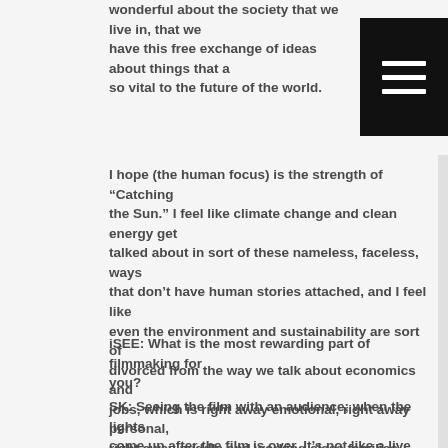wonderful about the society that we live in, that we have this free exchange of ideas about things that are so vital to the future of the world.
I hope (the human focus) is the strength of “Catching the Sun.” I feel like climate change and clean energy get talked about in sort of these nameless, faceless, ways that don’t have human stories attached, and I feel like even the environment and sustainability are sort of divorced from the way we talk about economics and jobs, which is right away emotional, right away personal, right away middle and working class families. Clean energy has this really human story that we’ve been missing.
iSEE: What is the most rewarding part of filmmaking for you?
SK: Seeing the film with an audience; when the lights come up after the film is over. It’s not like a live performance—(the audience’s reaction matters).